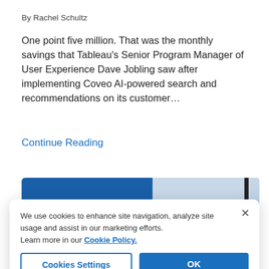By Rachel Schultz
One point five million. That was the monthly savings that Tableau's Senior Program Manager of User Experience Dave Jobling saw after implementing Coveo AI-powered search and recommendations on its customer…
Continue Reading
[Figure (screenshot): Blue promotional banner with a book/document image on the right side and a LEARN MORE orange button at the bottom right]
We use cookies to enhance site navigation, analyze site usage and assist in our marketing efforts.
Learn more in our Cookie Policy.
Cookies Settings
OK